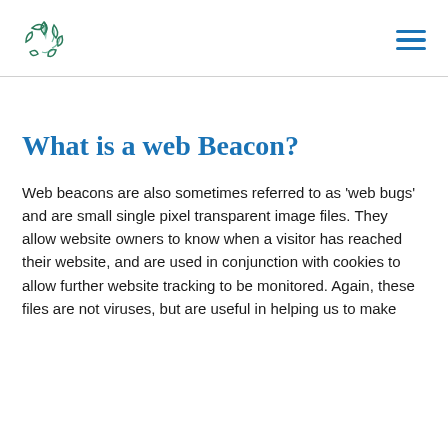[Logo] [Hamburger menu]
What is a web Beacon?
Web beacons are also sometimes referred to as 'web bugs' and are small single pixel transparent image files. They allow website owners to know when a visitor has reached their website, and are used in conjunction with cookies to allow further website tracking to be monitored. Again, these files are not viruses, but are useful in helping us to make